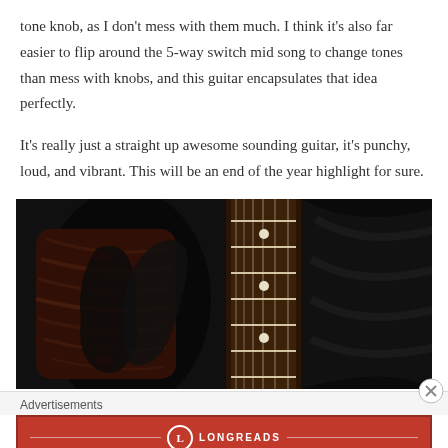tone knob, as I don't mess with them much. I think it's also far easier to flip around the 5-way switch mid song to change tones than mess with knobs, and this guitar encapsulates that idea perfectly.
It's really just a straight up awesome sounding guitar, it's punchy, loud, and vibrant. This will be an end of the year highlight for sure.
[Figure (photo): Close-up photo of an electric guitar showing the body with a dark reddish-brown flame maple top finish and a rosewood fretboard with white dot inlays, set against a black background/case.]
Advertisements
[Figure (other): Longreads advertisement banner with red background. Shows the Longreads logo (L in a circle) and text: 'The best stories on the web — ours, and everyone else's.']